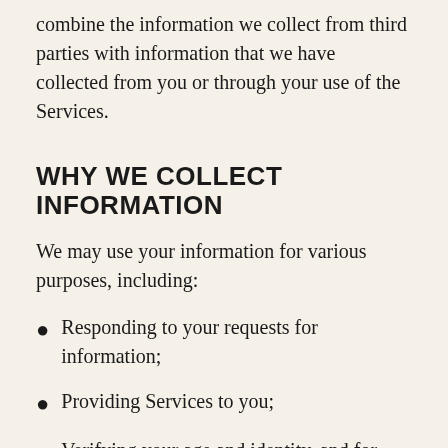combine the information we collect from third parties with information that we have collected from you or through your use of the Services.
WHY WE COLLECT INFORMATION
We may use your information for various purposes, including:
Responding to your requests for information;
Providing Services to you;
Verifying your age and identity, and for fraud prevention;